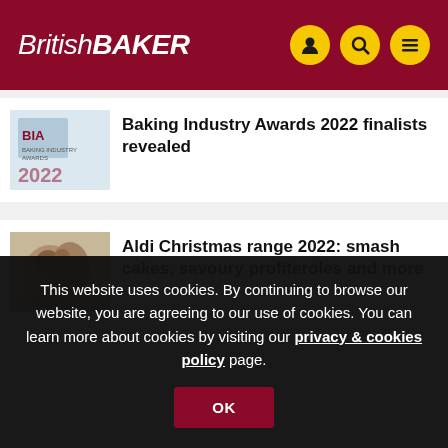British BAKER
Baking Industry Awards 2022 finalists revealed
Aldi Christmas range 2022: smash cakes, savoury profiteroles and more
This website uses cookies. By continuing to browse our website, you are agreeing to our use of cookies. You can learn more about cookies by visiting our privacy & cookies policy page.